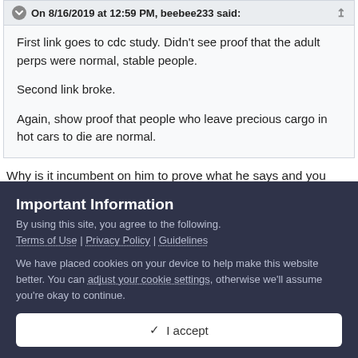On 8/16/2019 at 12:59 PM, beebee233 said:
First link goes to cdc study. Didn't see proof that the adult perps were normal, stable people.

Second link broke.

Again, show proof that people who leave precious cargo in hot cars to die are normal.
Why is it incumbent on him to prove what he says and you don't
Important Information
By using this site, you agree to the following.
Terms of Use | Privacy Policy | Guidelines
We have placed cookies on your device to help make this website better. You can adjust your cookie settings, otherwise we'll assume you're okay to continue.
✓  I accept